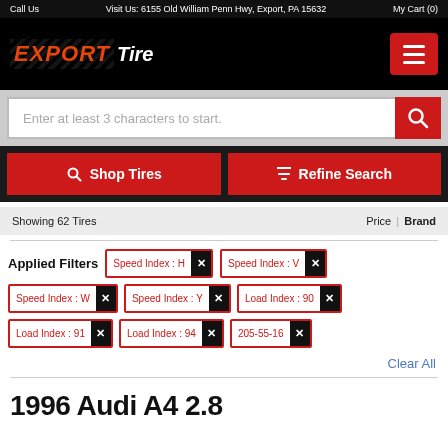Call Us   Visit Us: 6155 Old William Penn Hwy, Export, PA 15632   My Cart (0)
[Figure (logo): Export Tire logo with chevron background pattern]
Enter at least 3 characters to start.
Shop Tires
Refine Search
Showing 62 Tires
Price | Brand
Applied Filters
Speed Index : H
Speed Index : V
Speed Index : W
Speed Index : Y
Load Index : 90
Load Index : 91
Load Index : 94
205-55-16
Clear All
1996 Audi A4 2.8